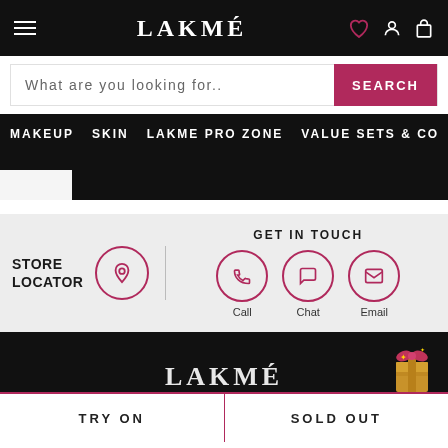LAKMÉ
What are you looking for..   SEARCH
MAKEUP   SKIN   LAKME PRO ZONE   VALUE SETS & CO
STORE LOCATOR
GET IN TOUCH
Call   Chat   Email
[Figure (screenshot): Lakmé website screenshot showing store locator with location pin icon, and Get in Touch section with Call, Chat, Email circle icons]
TRY ON   SOLD OUT